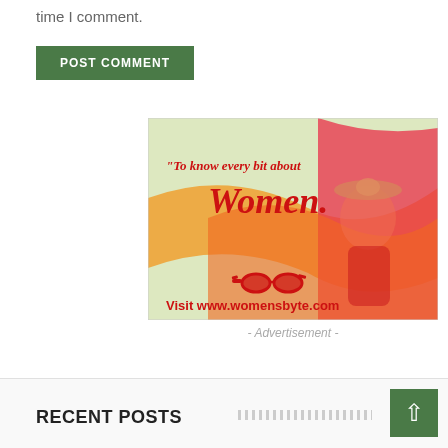time I comment.
POST COMMENT
[Figure (illustration): Advertisement banner for womensbyte.com showing a woman in red dress and hat with sunglasses, with text 'To know every bit about Women.' and 'Visit www.womensbyte.com']
- Advertisement -
RECENT POSTS